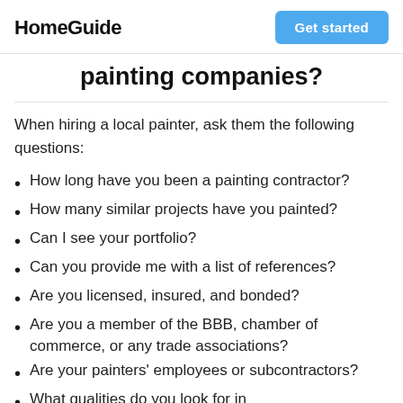HomeGuide | Get started
painting companies?
When hiring a local painter, ask them the following questions:
How long have you been a painting contractor?
How many similar projects have you painted?
Can I see your portfolio?
Can you provide me with a list of references?
Are you licensed, insured, and bonded?
Are you a member of the BBB, chamber of commerce, or any trade associations?
Are your painters' employees or subcontractors?
What qualities do you look for in